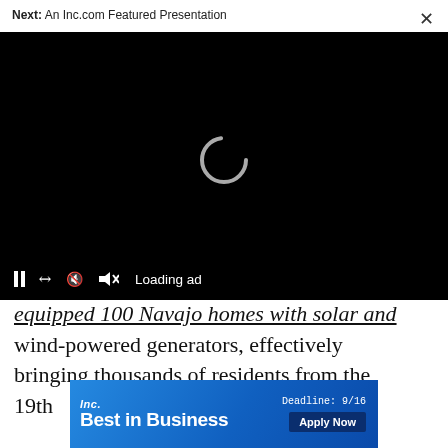Next: An Inc.com Featured Presentation
[Figure (screenshot): Video player with black background showing a loading spinner (white arc circle) in the center, and a control bar at the bottom with pause, expand, mute icons and 'Loading ad' text]
equipped 100 Navajo homes with solar and wind-powered generators, effectively bringing thousands of residents from the 19th ... s
[Figure (infographic): Inc. Best in Business advertisement banner with blue gradient background, 'Inc.' logo, 'Best in Business' text in bold white, 'Deadline: 9/16' and 'Apply Now' button]